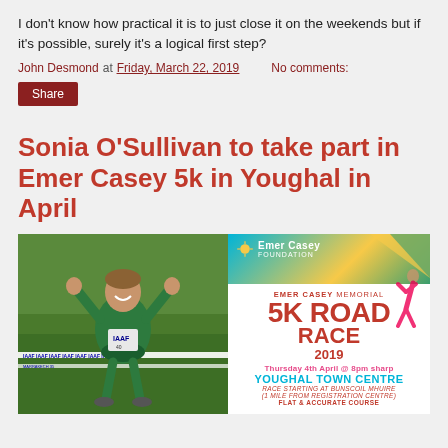I don't know how practical it is to just close it on the weekends but if it's possible, surely it's a logical first step?
John Desmond at Friday, March 22, 2019   No comments:
Share
Sonia O'Sullivan to take part in Emer Casey 5k in Youghal in April
[Figure (photo): Composite image: left side shows Sonia O'Sullivan celebrating at a race finish line wearing IAAF bib, arms raised; right side shows the Emer Casey Memorial 5K Road Race 2019 promotional poster with event details.]